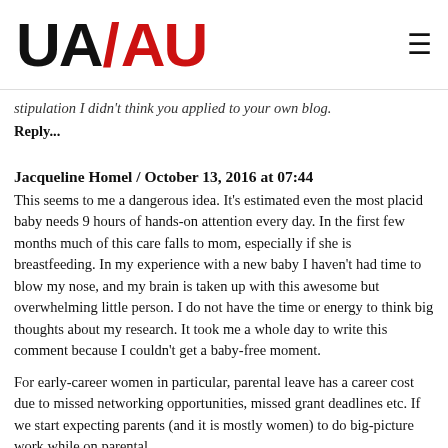UA/AU logo and navigation
stipulation I didn't think you applied to your own blog.
Reply...
Jacqueline Homel / October 13, 2016 at 07:44
This seems to me a dangerous idea. It's estimated even the most placid baby needs 9 hours of hands-on attention every day. In the first few months much of this care falls to mom, especially if she is breastfeeding. In my experience with a new baby I haven't had time to blow my nose, and my brain is taken up with this awesome but overwhelming little person. I do not have the time or energy to think big thoughts about my research. It took me a whole day to write this comment because I couldn't get a baby-free moment.

For early-career women in particular, parental leave has a career cost due to missed networking opportunities, missed grant deadlines etc. If we start expecting parents (and it is mostly women) to do big-picture work while on parental